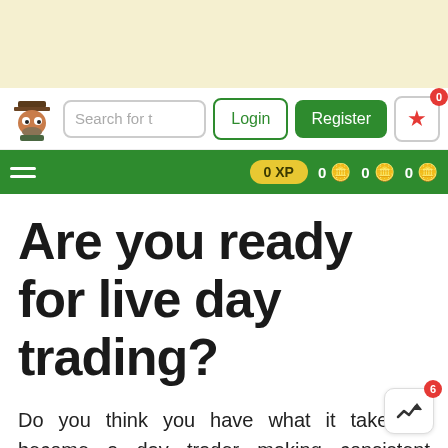[Figure (screenshot): Top cream/beige banner area]
Search for t | Login | Register | 0 XP | 0 0 0
Are you ready for live day trading?
Do you think you have what it takes to become a day trader making consistent profits? Find it by answering the next 40 quests!